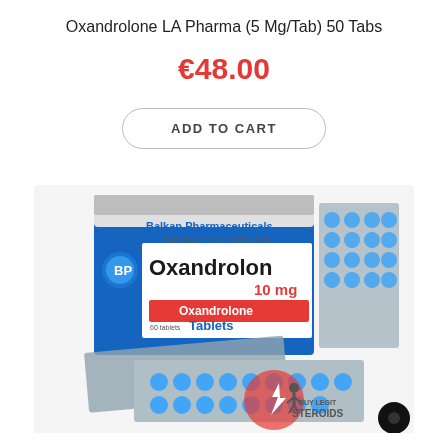Oxandrolone LA Pharma (5 Mg/Tab) 50 Tabs
€48.00
ADD TO CART
[Figure (photo): Product photo of Balkan Pharmaceuticals Oxandrolon 10mg Tablets box with blister packs of blue tablets visible. The box is blue and white, labeled 'Balkan Pharmaceuticals', 'Oxandrolon', '10 mg', 'Oxandrolone Tablets', '60 tablets'. A watermark reads 'BUY LEGIT STEROIDS'. A small black circle is visible in the bottom right corner.]